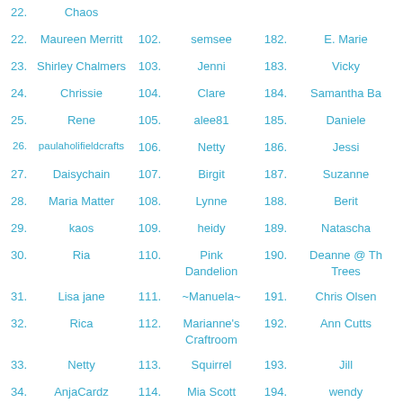22. Maureen Merritt
23. Shirley Chalmers
24. Chrissie
25. Rene
26. paulaholifieldcrafts
27. Daisychain
28. Maria Matter
29. kaos
30. Ria
31. Lisa jane
32. Rica
33. Netty
34. AnjaCardz
35. Louise NZ
36. -Anne-
37. Cheri
102. semsee
103. Jenni
104. Clare
105. alee81
106. Netty
107. Birgit
108. Lynne
109. heidy
110. Pink Dandelion
111. ~Manuela~
112. Marianne's Craftroom
113. Squirrel
114. Mia Scott
115. Laurie
116. Laura
117. Sheryl
182. E. Marie
183. Vicky
184. Samantha Ba
185. Daniele
186. Jessi
187. Suzanne
188. Berit
189. Natascha
190. Deanne @ Th Trees
191. Chris Olsen
192. Ann Cutts
193. Jill
194. wendy
195. Kobie
196. paulien
197. Audrey